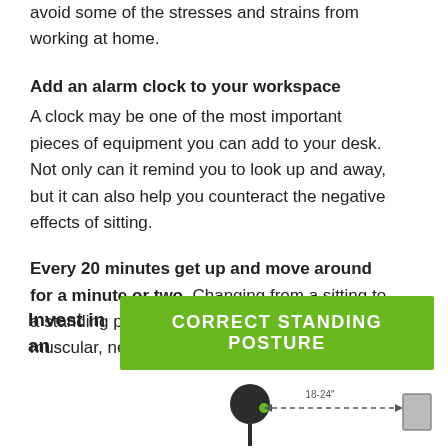avoid some of the stresses and strains from working at home.
Add an alarm clock to your workspace
A clock may be one of the most important pieces of equipment you can add to your desk. Not only can it remind you to look up and away, but it can also help you counteract the negative effects of sitting.
Every 20 minutes get up and move around for a minute or two. Changing from a sitting to a standing position helps recalibrate your muscular, nervous, and circulatory systems.
Invest in an
[Figure (infographic): Green banner with text CORRECT STANDING POSTURE alongside a diagram of correct standing posture showing a person's head with 18-24 inch distance marker to a monitor]
[Figure (illustration): Diagram showing correct standing posture with a person silhouette and 18-24 inch measurement arrow to a screen]